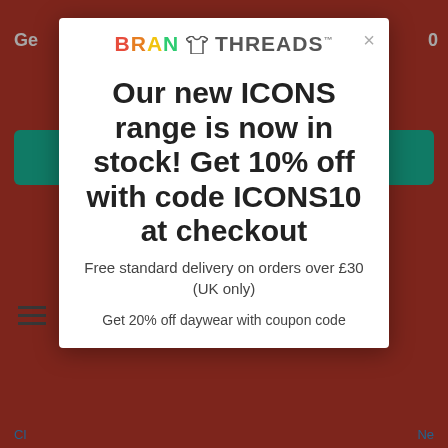[Figure (screenshot): Screenshot of Brand Threads e-commerce website showing a promotional modal popup overlay. The background shows the red website with teal buttons and navigation. The modal displays the Brand Threads logo, a close button, promotional text about new ICONS range with 10% off code ICONS10, free delivery info, and a partial line about daywear discount.]
Our new ICONS range is now in stock! Get 10% off with code ICONS10 at checkout
Free standard delivery on orders over £30 (UK only)
Get 20% off daywear with coupon code